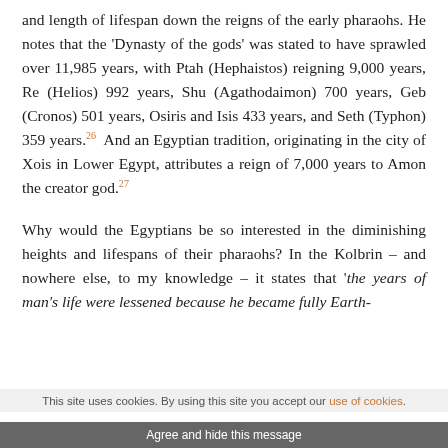and length of lifespan down the reigns of the early pharaohs. He notes that the 'Dynasty of the gods' was stated to have sprawled over 11,985 years, with Ptah (Hephaistos) reigning 9,000 years, Re (Helios) 992 years, Shu (Agathodaimon) 700 years, Geb (Cronos) 501 years, Osiris and Isis 433 years, and Seth (Typhon) 359 years.26 And an Egyptian tradition, originating in the city of Xois in Lower Egypt, attributes a reign of 7,000 years to Amon the creator god.27
Why would the Egyptians be so interested in the diminishing heights and lifespans of their pharaohs? In the Kolbrin – and nowhere else, to my knowledge – it states that 'the years of man's life were lessened because he became fully Earth-
This site uses cookies. By using this site you accept our use of cookies.